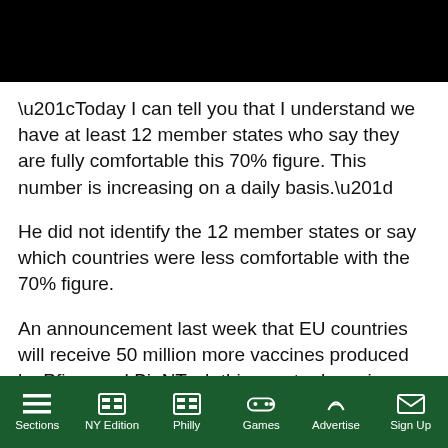[Figure (photo): Black rectangle image at top of page]
“Today I can tell you that I understand we have at least 12 member states who say they are fully comfortable this 70% figure. This number is increasing on a daily basis.”
He did not identify the 12 member states or say which countries were less comfortable with the 70% figure.
An announcement last week that EU countries will receive 50 million more vaccines produced by Pfizer and BioNTech this quarter has given the executive
Sections | NY Edition | Philly | Games | Advertise | Sign Up